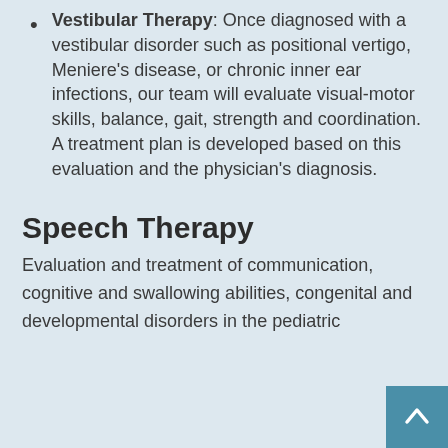Vestibular Therapy: Once diagnosed with a vestibular disorder such as positional vertigo, Meniere's disease, or chronic inner ear infections, our team will evaluate visual-motor skills, balance, gait, strength and coordination. A treatment plan is developed based on this evaluation and the physician's diagnosis.
Speech Therapy
Evaluation and treatment of communication, cognitive and swallowing abilities, congenital and developmental disorders in the pediatric